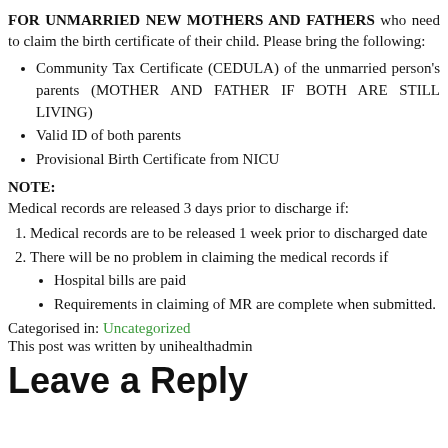FOR UNMARRIED NEW MOTHERS AND FATHERS who need to claim the birth certificate of their child. Please bring the following:
Community Tax Certificate (CEDULA) of the unmarried person's parents (MOTHER AND FATHER IF BOTH ARE STILL LIVING)
Valid ID of both parents
Provisional Birth Certificate from NICU
NOTE:
Medical records are released 3 days prior to discharge if:
Medical records are to be released 1 week prior to discharged date
There will be no problem in claiming the medical records if
Hospital bills are paid
Requirements in claiming of MR are complete when submitted.
Categorised in: Uncategorized
This post was written by unihealthadmin
Leave a Reply